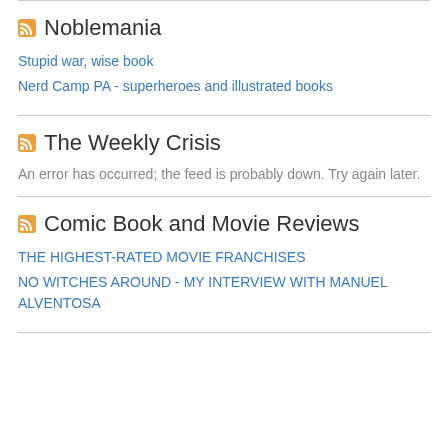Noblemania
Stupid war, wise book
Nerd Camp PA - superheroes and illustrated books
The Weekly Crisis
An error has occurred; the feed is probably down. Try again later.
Comic Book and Movie Reviews
THE HIGHEST-RATED MOVIE FRANCHISES
NO WITCHES AROUND - MY INTERVIEW WITH MANUEL ALVENTOSA